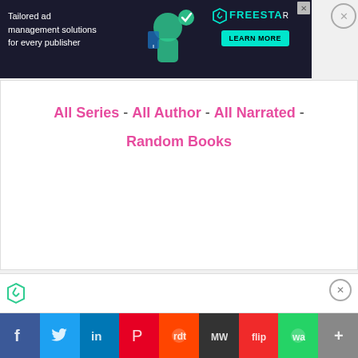[Figure (screenshot): Advertisement banner: dark background with text 'Tailored ad management solutions for every publisher', FREESTA logo and LEARN MORE button, X close button]
All Series - All Author - All Narrated - Random Books
Leave a reply
Default Comments (0)   Facebook Comments
Login with your Social ID
[Figure (screenshot): Social login buttons: Facebook (blue), Twitter (light blue), Google (white with G logo)]
[Figure (screenshot): Bottom advertisement strip with FreeStar logo and close button]
[Figure (screenshot): Social share bar at bottom with icons for Facebook, Twitter, LinkedIn, Pinterest, Reddit, MeWe, Flipboard, WhatsApp, and plus]